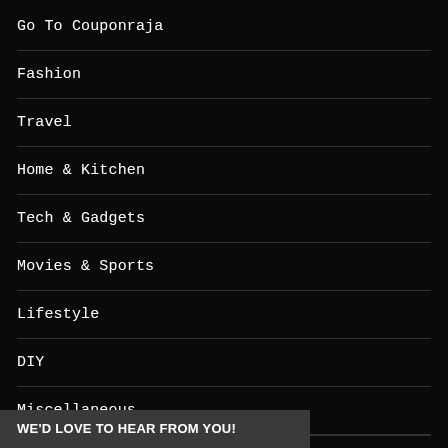Go To Couponraja
Fashion
Travel
Home & Kitchen
Tech & Gadgets
Movies & Sports
Lifestyle
DIY
Miscellaneous
WE'D LOVE TO HEAR FROM YOU!